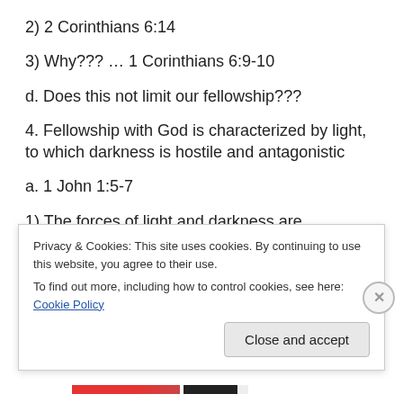2) 2 Corinthians 6:14
3) Why??? … 1 Corinthians 6:9-10
d. Does this not limit our fellowship???
4. Fellowship with God is characterized by light, to which darkness is hostile and antagonistic
a. 1 John 1:5-7
1) The forces of light and darkness are incompatible; hence, there can be no partnership between them
Privacy & Cookies: This site uses cookies. By continuing to use this website, you agree to their use. To find out more, including how to control cookies, see here: Cookie Policy